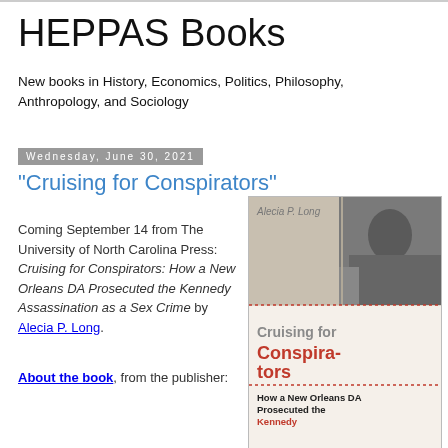HEPPAS Books
New books in History, Economics, Politics, Philosophy, Anthropology, and Sociology
Wednesday, June 30, 2021
"Cruising for Conspirators"
Coming September 14 from The University of North Carolina Press: Cruising for Conspirators: How a New Orleans DA Prosecuted the Kennedy Assassination as a Sex Crime by Alecia P. Long.
About the book, from the publisher:
[Figure (photo): Book cover of 'Cruising for Conspirators: How a New Orleans DA Prosecuted the Kennedy Assassination as a Sex Crime' by Alecia P. Long, showing a black and white photo of a person in a car, with the title in bold red and black text on a cream/white background.]